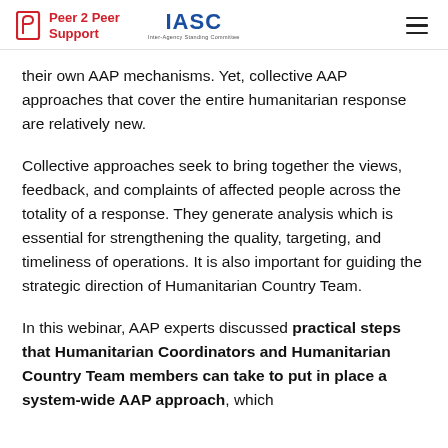Peer 2 Peer Support | IASC | Inter-Agency Standing Committee
their own AAP mechanisms. Yet, collective AAP approaches that cover the entire humanitarian response are relatively new.
Collective approaches seek to bring together the views, feedback, and complaints of affected people across the totality of a response. They generate analysis which is essential for strengthening the quality, targeting, and timeliness of operations. It is also important for guiding the strategic direction of Humanitarian Country Team.
In this webinar, AAP experts discussed practical steps that Humanitarian Coordinators and Humanitarian Country Team members can take to put in place a system-wide AAP approach, which